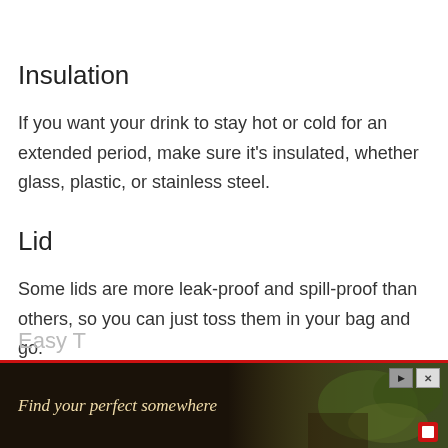Insulation
If you want your drink to stay hot or cold for an extended period, make sure it's insulated, whether glass, plastic, or stainless steel.
Lid
Some lids are more leak-proof and spill-proof than others, so you can just toss them in your bag and go.
Easy T
[Figure (other): Advertisement banner with red border at bottom reading 'Find your perfect somewhere' with dark background and nature imagery]